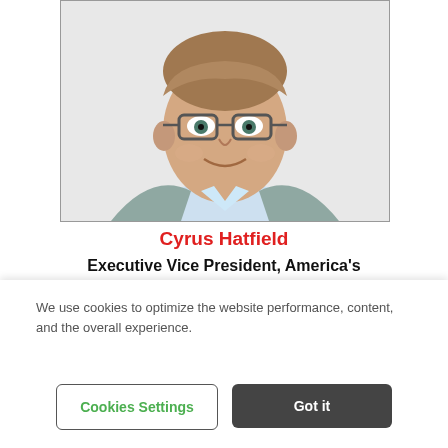[Figure (photo): Professional headshot of Cyrus Hatfield, a middle-aged man with glasses, wearing a grey plaid blazer over a light blue shirt, smiling at the camera]
Cyrus Hatfield
Executive Vice President, America's Sales
[Figure (photo): Partially visible second profile photo below Cyrus Hatfield's photo]
We use cookies to optimize the website performance, content, and the overall experience.
Cookies Settings
Got it